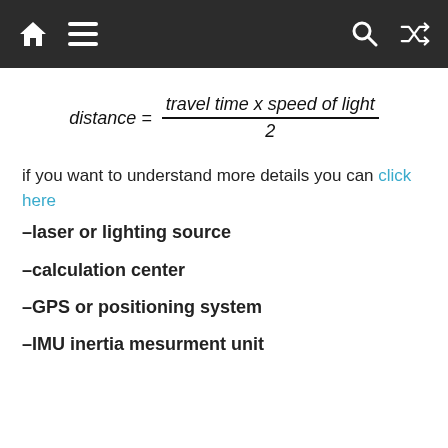[navigation bar with home, menu, search, shuffle icons]
if you want to understand more details you can click here
–laser or lighting source
–calculation center
–GPS or positioning system
–IMU inertia mesurment unit